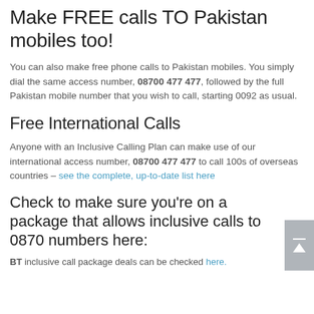Make FREE calls TO Pakistan mobiles too!
You can also make free phone calls to Pakistan mobiles. You simply dial the same access number, 08700 477 477, followed by the full Pakistan mobile number that you wish to call, starting 0092 as usual.
Free International Calls
Anyone with an Inclusive Calling Plan can make use of our international access number, 08700 477 477 to call 100s of overseas countries – see the complete, up-to-date list here
Check to make sure you're on a package that allows inclusive calls to 0870 numbers here:
BT inclusive call package deals can be checked here.